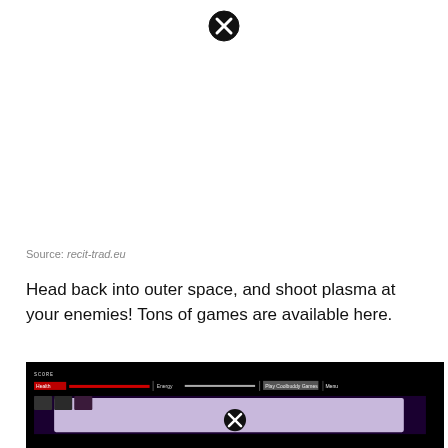[Figure (other): Close/cancel button (circle with X) at top center of page]
Source: recit-trad.eu
Head back into outer space, and shoot plasma at your enemies! Tons of games are available here.
[Figure (screenshot): Screenshot of a dark space shooter video game interface with a game UI bar showing health and energy bars, play buttons, and a close button overlay at the bottom center]